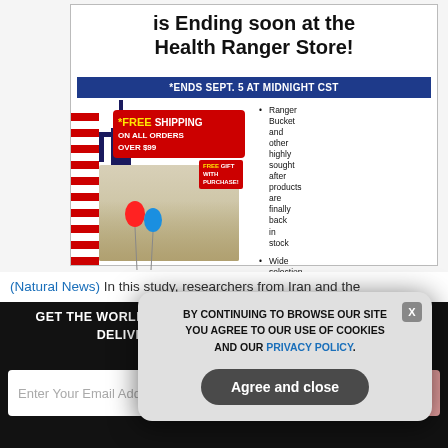[Figure (screenshot): Health Ranger Store advertisement banner showing Statue of Liberty, patriotic products, free shipping offer ending Sept 5 at midnight CST, with Shop Now button]
(Natural News) In this study, researchers from Iran and the
GET THE WORLD'S BEST NATURAL HEALTH NEWSLETTER DELIVERED STRAIGHT TO YOUR INBOX
[Figure (screenshot): Cookie consent modal overlay: BY CONTINUING TO BROWSE OUR SITE YOU AGREE TO OUR USE OF COOKIES AND OUR PRIVACY POLICY. Agree and close button.]
Enter Your Email Address
SUBSCRIBE